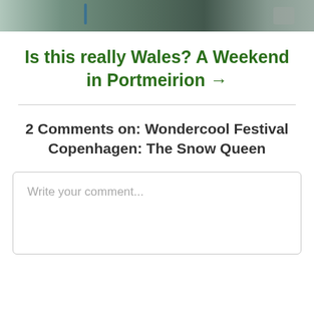[Figure (photo): Partial photograph showing an outdoor scene, appears to be a coastal or garden path area]
Is this really Wales? A Weekend in Portmeirion →
2 Comments on: Wondercool Festival Copenhagen: The Snow Queen
Write your comment...